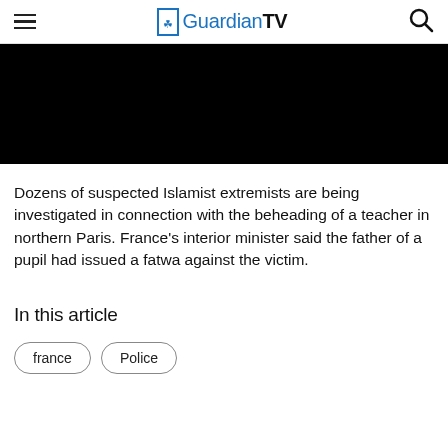GuardianTV
[Figure (photo): Black image area representing a video or photo thumbnail]
Dozens of suspected Islamist extremists are being investigated in connection with the beheading of a teacher in northern Paris. France's interior minister said the father of a pupil had issued a fatwa against the victim.
In this article
france
Police